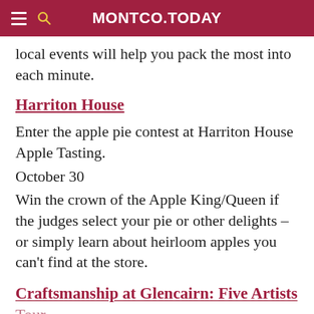MONTCO.TODAY
local events will help you pack the most into each minute.
Harriton House
Enter the apple pie contest at Harriton House Apple Tasting.
October 30
Win the crown of the Apple King/Queen if the judges select your pie or other delights – or simply learn about heirloom apples you can't find at the store.
Craftsmanship at Glencairn: Five Artists Tour